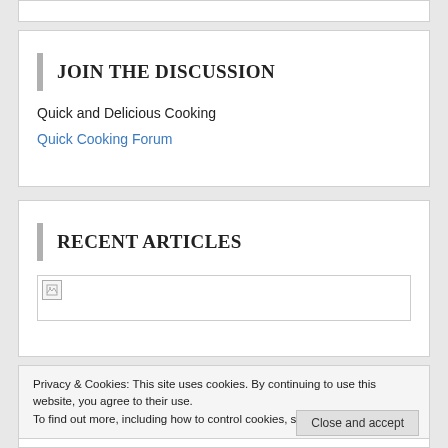JOIN THE DISCUSSION
Quick and Delicious Cooking
Quick Cooking Forum
RECENT ARTICLES
[Figure (other): Broken/placeholder image for a recent article thumbnail]
Privacy & Cookies: This site uses cookies. By continuing to use this website, you agree to their use. To find out more, including how to control cookies, see here: Cookie Policy